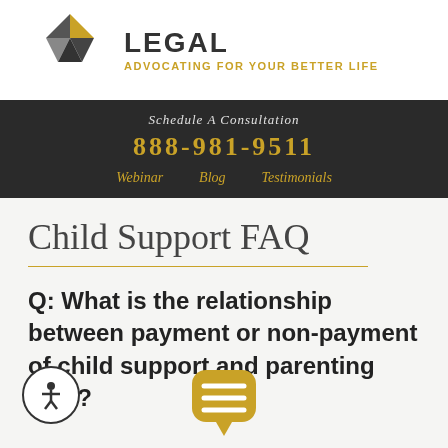[Figure (logo): Diamond-shaped logo with yellow and gray/dark segments, beside bold text LEGAL and tagline ADVOCATING FOR YOUR BETTER LIFE in gold]
Schedule A Consultation
888-981-9511
Webinar   Blog   Testimonials
Child Support FAQ
Q: What is the relationship between payment or non-payment of child support and parenting time?